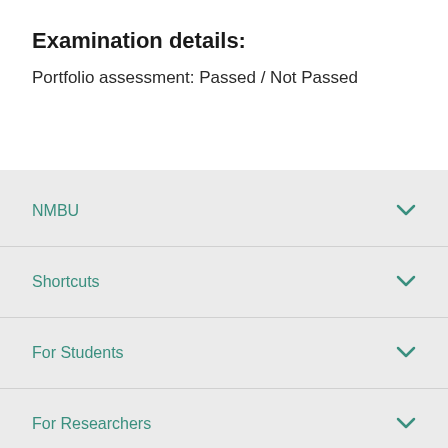Examination details:
Portfolio assessment: Passed / Not Passed
NMBU
Shortcuts
For Students
For Researchers